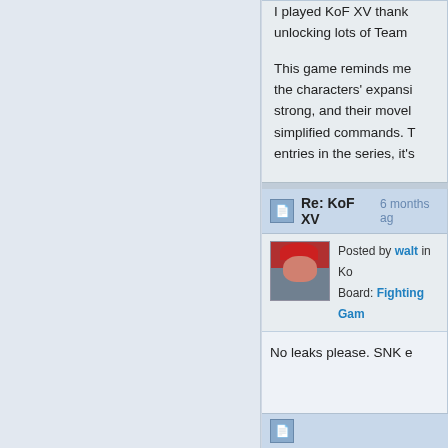I played KoF XV thank unlocking lots of Team

This game reminds me the characters' expansi strong, and their movel simplified commands. T entries in the series, it's
Re: KoF XV  6 months ag
Posted by walt  in Ko Board: Fighting Gam
No leaks please. SNK e